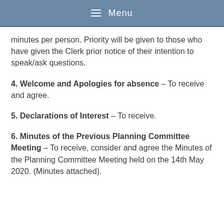Menu
minutes per person. Priority will be given to those who have given the Clerk prior notice of their intention to speak/ask questions.
4. Welcome and Apologies for absence – To receive and agree.
5. Declarations of Interest – To receive.
6. Minutes of the Previous Planning Committee Meeting – To receive, consider and agree the Minutes of the Planning Committee Meeting held on the 14th May 2020. (Minutes attached).